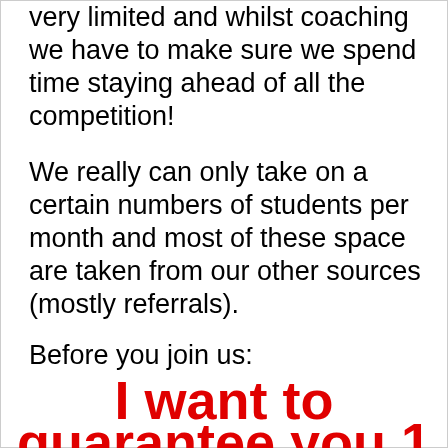very limited and whilst coaching we have to make sure we spend time staying ahead of all the competition!
We really can only take on a certain numbers of students per month and most of these space are taken from our other sources (mostly referrals).
Before you join us:
I want to guarantee you 1